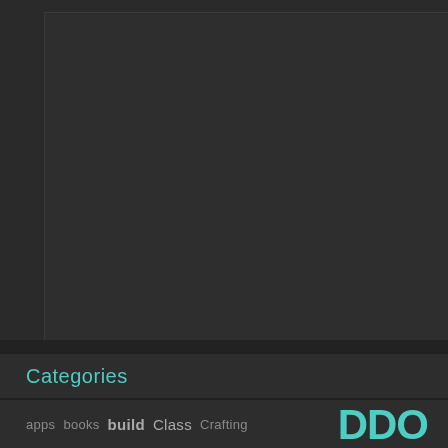[Figure (other): Large dark rectangular image/screenshot area with dark gray background]
Categories
apps  books  build  Class  Crafting  DDO